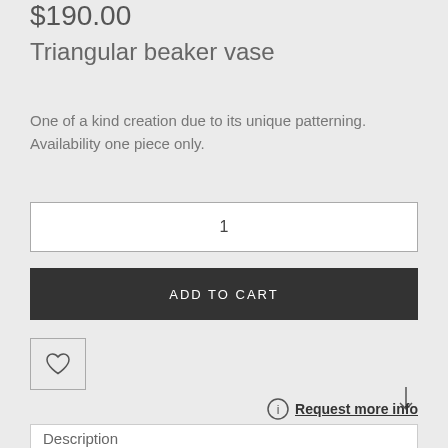$190.00
Triangular beaker vase
One of a kind creation due to its unique patterning. Availability one piece only.
1
ADD TO CART
[Figure (illustration): Heart/wishlist icon button]
Request more info
Description